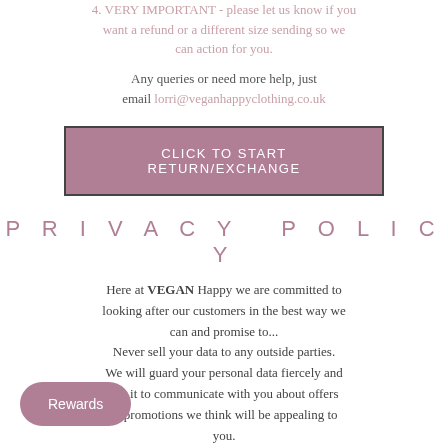4. VERY IMPORTANT - please let us know if you want a refund or a different size sending so we can action for you.
Any queries or need more help, just email lorri@veganhappyclothing.co.uk
CLICK TO START RETURN/EXCHANGE
PRIVACY POLICY
Here at VEGAN Happy we are committed to looking after our customers in the best way we can and promise to... Never sell your data to any outside parties. We will guard your personal data fiercely and use it to communicate with you about offers and promotions we think will be appealing to you. If we email too much you can decide to opt out...